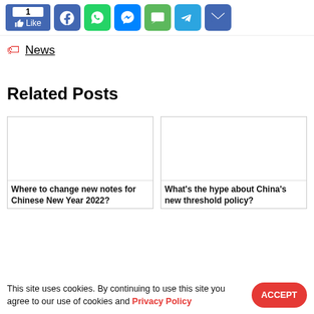[Figure (screenshot): Social sharing bar with Like button (count: 1) and icons for Facebook, WhatsApp, Messenger, SMS, Telegram, and Email]
News
Related Posts
[Figure (screenshot): Two related post cards side by side. Left: blank image placeholder with title 'Where to change new notes for Chinese New Year 2022?'. Right: blank image placeholder with title 'What’s the hype about China’s new threshold policy?']
This site uses cookies. By continuing to use this site you agree to our use of cookies and Privacy Policy  ACCEPT